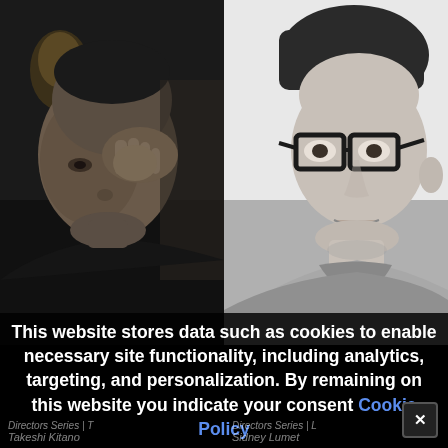[Figure (photo): Black and white portrait photo of Takeshi Kitano, an older Asian man with his hand raised to his face, eyes mostly closed, standing before a dimly lit lamp background.]
[Figure (photo): Black and white portrait photo of Sidney Lumet, a younger white man wearing thick-rimmed glasses, looking to the side, seated in a chair.]
This website stores data such as cookies to enable necessary site functionality, including analytics, targeting, and personalization. By remaining on this website you indicate your consent Cookie Policy
Directors Series | T
Takeshi Kitano
Directors Series | L
Sidney Lumet